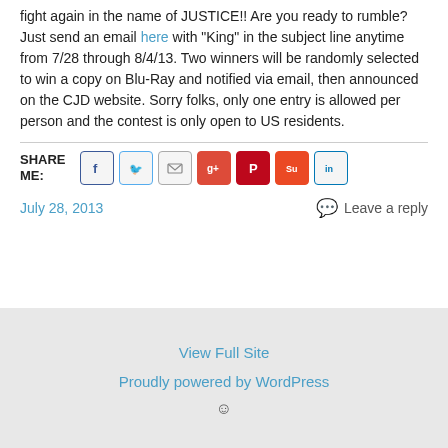fight again in the name of JUSTICE!! Are you ready to rumble? Just send an email here with “King” in the subject line anytime from 7/28 through 8/4/13. Two winners will be randomly selected to win a copy on Blu-Ray and notified via email, then announced on the CJD website. Sorry folks, only one entry is allowed per person and the contest is only open to US residents.
SHARE ME:
July 28, 2013
Leave a reply
View Full Site
Proudly powered by WordPress